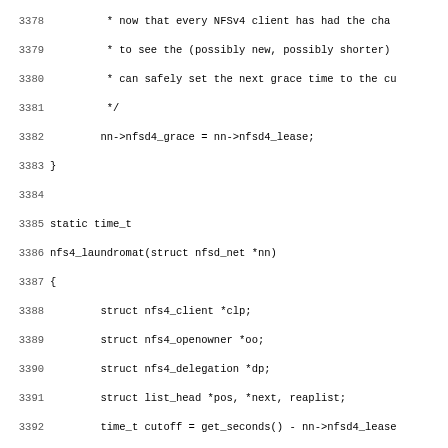[Figure (screenshot): Source code listing showing C code for nfs4_laundromat function, lines 3378-3410, with line numbers on the left and monospace code on the right.]